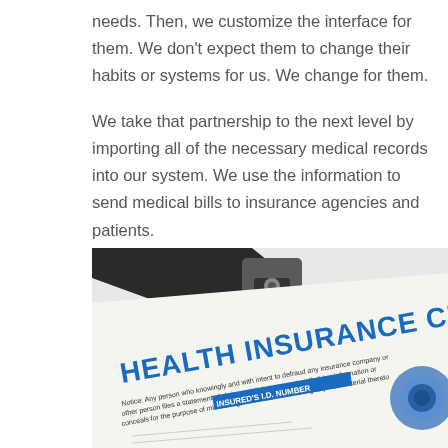needs. Then, we customize the interface for them. We don't expect them to change their habits or systems for us. We change for them.

We take that partnership to the next level by importing all of the necessary medical records into our system. We use the information to send medical bills to insurance agencies and patients.
[Figure (photo): A health insurance claim form on a clipboard with a stethoscope visible, showing bold blue text reading 'HEALTH INSURANCE CLAIM FOR' and fine print below.]